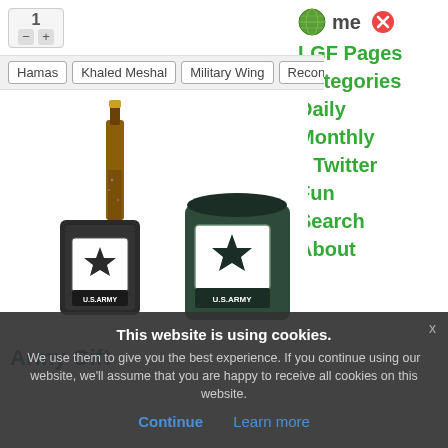[Figure (screenshot): Counter widget with number 1 and minus/plus buttons]
Hamas
Khaled Meshal
Military Wing
Reconciliation T
[Figure (screenshot): Navigation menu on the right side with links: Home, LGF Pages, Categories, Daily, Monthly, Twitter, Fun, Search, About]
[Figure (photo): U.S. Army branded can cooler with a beer bottle and a standalone can cooler, both bearing the U.S. Army star logo]
Army Gift
This website is using cookies. We use them to give you the best experience. If you continue using our website, we'll assume that you are happy to receive all cookies on this website.
Continue   Learn more